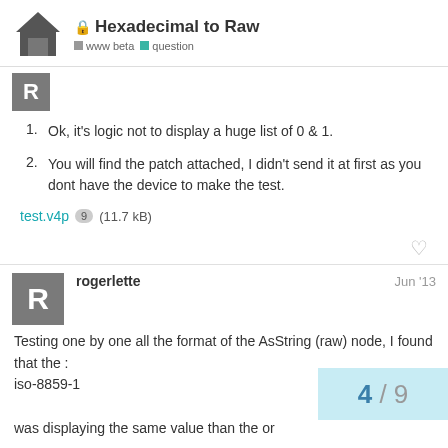🔒 Hexadecimal to Raw | www beta | question
[Figure (other): Gray avatar with letter R]
1. Ok, it's logic not to display a huge list of 0 & 1.
2. You will find the patch attached, I didn't send it at first as you dont have the device to make the test.
test.v4p 9 (11.7 kB)
rogerlette  Jun '13
Testing one by one all the format of the AsString (raw) node, I found that the :
iso-8859-1

was displaying the same value than the or
4 / 9